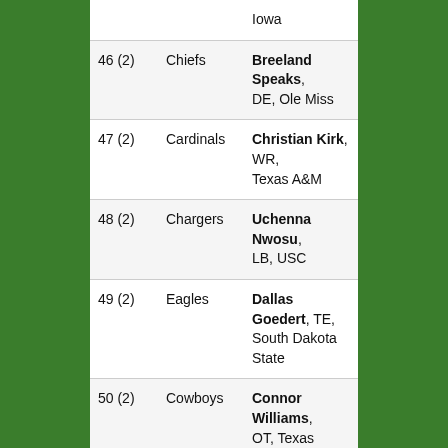| Pick | Team | Player |
| --- | --- | --- |
|  |  | Iowa |
| 46 (2) | Chiefs | Breeland Speaks, DE, Ole Miss |
| 47 (2) | Cardinals | Christian Kirk, WR, Texas A&M |
| 48 (2) | Chargers | Uchenna Nwosu, LB, USC |
| 49 (2) | Eagles | Dallas Goedert, TE, South Dakota State |
| 50 (2) | Cowboys | Connor Williams, OT, Texas |
| 51 (2) | Bears | Anthony Miller, WR, Memphis |